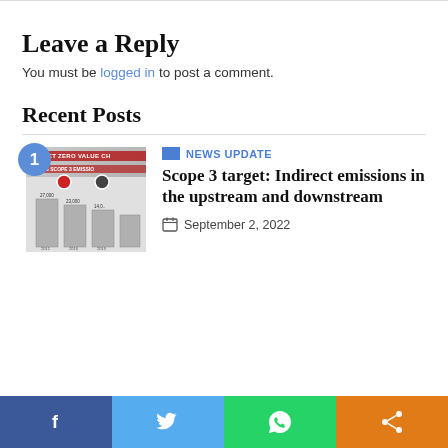Leave a Reply
You must be logged in to post a comment.
Recent Posts
[Figure (thumbnail): Thumbnail image showing a chart about net zero value chain and scope 3 emissions with bar graphs]
NEWS UPDATE
Scope 3 target: Indirect emissions in the upstream and downstream
September 2, 2022
Social share bar: Facebook, Twitter, WhatsApp, Share